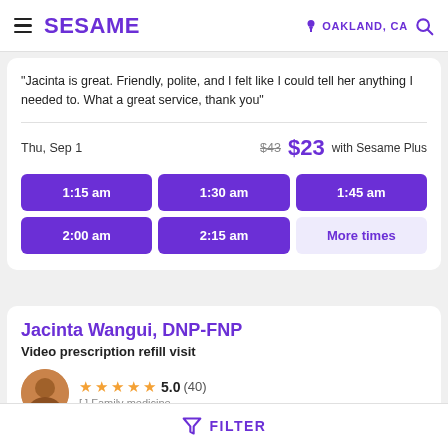SESAME | OAKLAND, CA
"Jacinta is great. Friendly, polite, and I felt like I could tell her anything I needed to. What a great service, thank you"
Thu, Sep 1  $43 (strikethrough)  $23 with Sesame Plus
1:15 am | 1:30 am | 1:45 am | 2:00 am | 2:15 am | More times
Jacinta Wangui, DNP-FNP
Video prescription refill visit
5.0 (40)
FILTER